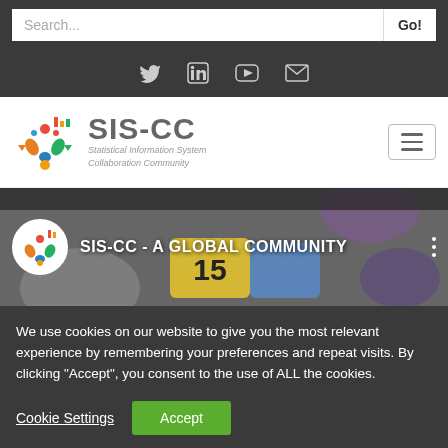Search... Go!
[Figure (screenshot): Social media icons: Twitter, LinkedIn, YouTube, Email]
[Figure (logo): SIS-CC - Statistical Information System Collaboration Community logo with colorful arrow/people graphic]
[Figure (screenshot): SIS-CC - A GLOBAL COMMUNITY video thumbnail with puzzle pieces and number 15]
We use cookies on our website to give you the most relevant experience by remembering your preferences and repeat visits. By clicking “Accept”, you consent to the use of ALL the cookies.
Cookie Settings  Accept